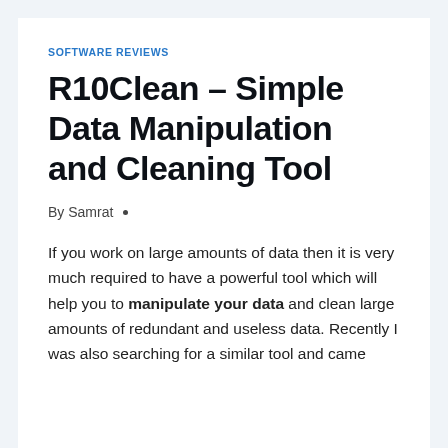SOFTWARE REVIEWS
R10Clean – Simple Data Manipulation and Cleaning Tool
By Samrat •
If you work on large amounts of data then it is very much required to have a powerful tool which will help you to manipulate your data and clean large amounts of redundant and useless data. Recently I was also searching for a similar tool and came